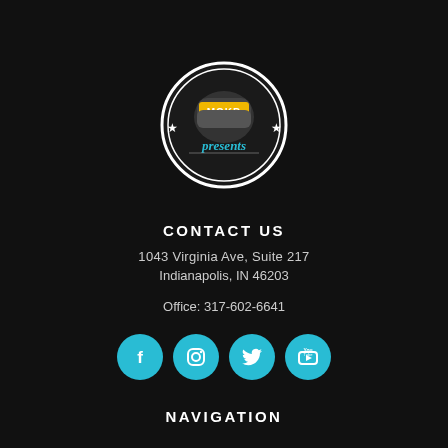[Figure (logo): MOKB Presents logo: circular badge with fist graphic, gold MOKB text, script 'presents' text, stars on sides, white circle border on dark background]
CONTACT US
1043 Virginia Ave, Suite 217
Indianapolis, IN 46203
Office: 317-602-6641
[Figure (illustration): Four cyan/blue circular social media icon buttons: Facebook, Instagram, Twitter, YouTube]
NAVIGATION